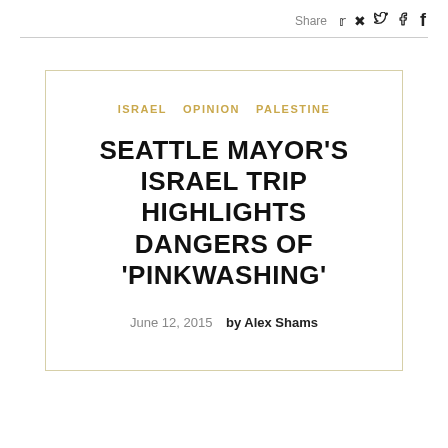Share
ISRAEL   OPINION   PALESTINE
SEATTLE MAYOR'S ISRAEL TRIP HIGHLIGHTS DANGERS OF 'PINKWASHING'
June 12, 2015   by Alex Shams